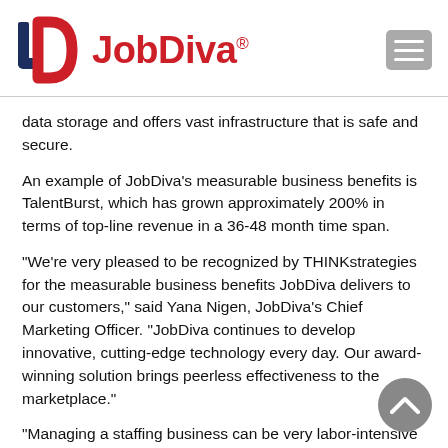[Figure (logo): JobDiva logo with J D letter mark in dark navy and red, with 'JobDiva' text in red and registered trademark symbol]
data storage and offers vast infrastructure that is safe and secure.
An example of JobDiva's measurable business benefits is TalentBurst, which has grown approximately 200% in terms of top-line revenue in a 36-48 month time span.
"We're very pleased to be recognized by THINKstrategies for the measurable business benefits JobDiva delivers to our customers," said Yana Nigen, JobDiva's Chief Marketing Officer. "JobDiva continues to develop innovative, cutting-edge technology every day. Our award-winning solution brings peerless effectiveness to the marketplace."
"Managing a staffing business can be very labor-intensive